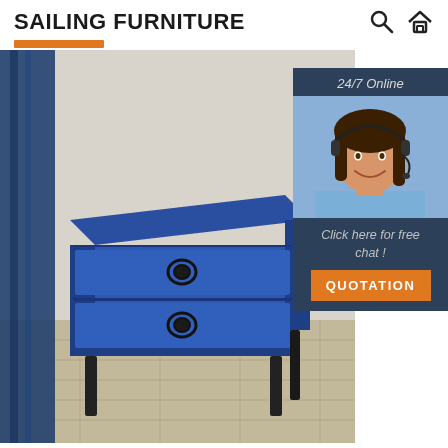SAILING FURNITURE
[Figure (photo): Blue velvet upholstered nightstand with two drawers featuring ring pulls, standing on dark metal legs, in a room setting with blue drapery and light wood flooring]
[Figure (photo): Customer service agent woman with headset smiling, used in 24/7 online chat widget]
24/7 Online
Click here for free chat !
QUOTATION